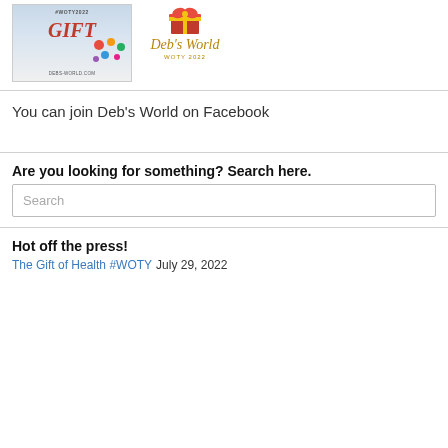[Figure (illustration): Two promotional images side by side: left shows a colorful GIFT image with #WOTY2022 hashtag and debs-world.com URL; right shows Deb's World WOTY 2022 logo with a gift box icon and script text.]
You can join Deb's World on Facebook
Are you looking for something? Search here.
Search
Hot off the press!
The Gift of Health #WOTY July 29, 2022